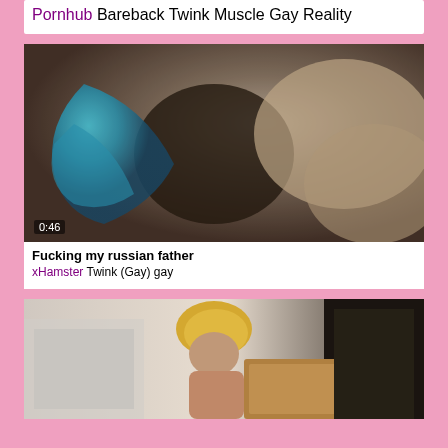Pornhub Bareback Twink Muscle Gay Reality
[Figure (photo): Blurred close-up video thumbnail with timestamp 0:46]
Fucking my russian father
xHamster Twink (Gay) gay
[Figure (photo): Blurred video thumbnail showing a blonde person in an office/shop setting]